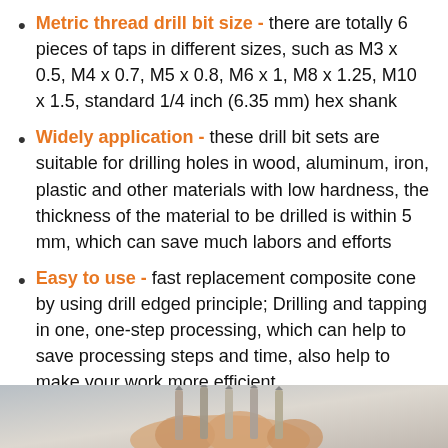Metric thread drill bit size - there are totally 6 pieces of taps in different sizes, such as M3 x 0.5, M4 x 0.7, M5 x 0.8, M6 x 1, M8 x 1.25, M10 x 1.5, standard 1/4 inch (6.35 mm) hex shank
Widely application - these drill bit sets are suitable for drilling holes in wood, aluminum, iron, plastic and other materials with low hardness, the thickness of the material to be drilled is within 5 mm, which can save much labors and efforts
Easy to use - fast replacement composite cone by using drill edged principle; Drilling and tapping in one, one-step processing, which can help to save processing steps and time, also help to make your work more efficient
[Figure (photo): Photo of drill bits/taps held in a hand, partially visible at bottom of page]